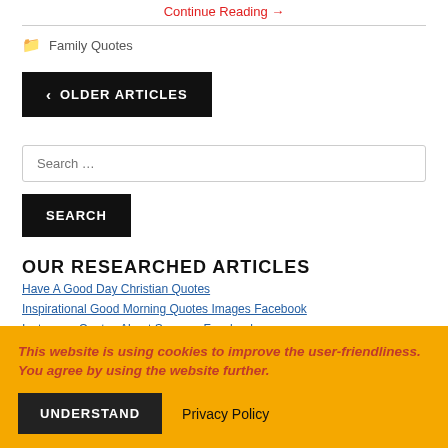Continue Reading →
Family Quotes
❮ OLDER ARTICLES
Search …
SEARCH
OUR RESEARCHED ARTICLES
Have A Good Day Christian Quotes
Inspirational Good Morning Quotes Images Facebook
Instagram Quotes About Success Facebook
This website is using cookies to improve the user-friendliness. You agree by using the website further.
UNDERSTAND
Privacy Policy